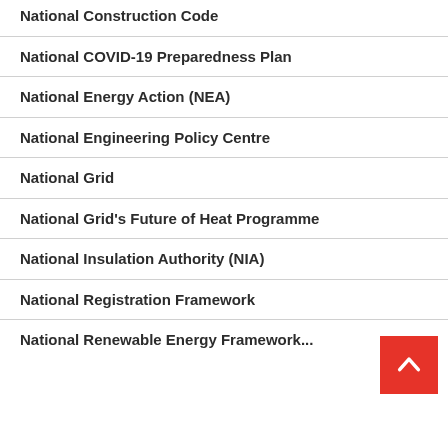National Construction Code
National COVID-19 Preparedness Plan
National Energy Action (NEA)
National Engineering Policy Centre
National Grid
National Grid's Future of Heat Programme
National Insulation Authority (NIA)
National Registration Framework
National Renewable Energy Act...